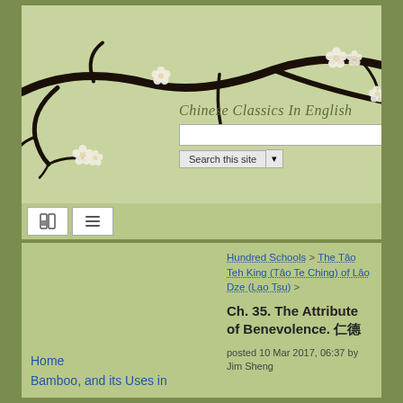[Figure (illustration): Cherry blossom branch with white flowers on a light green background, decorating the header of the website.]
Chinese Classics In English
[Figure (screenshot): Search input field and 'Search this site' button with dropdown arrow.]
[Figure (screenshot): Navigation bar with two buttons: a home/sidebar icon and a hamburger menu icon.]
Hundred Schools > The Tâo Teh King (Tâo Te Ching) of Lâo Dze (Lao Tsu) >
Ch. 35. The Attribute of Benevolence. 仁德
posted 10 Mar 2017, 06:37 by Jim Sheng
Home
Bamboo, and its Uses in